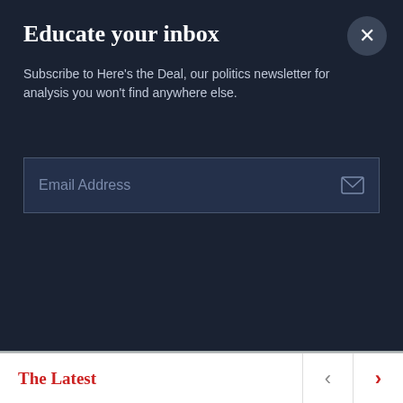Educate your inbox
Subscribe to Here's the Deal, our politics newsletter for analysis you won't find anywhere else.
Email Address
[Figure (logo): Cellular logo in italic serif font with registered trademark symbol]
[Figure (logo): Corporation for Public Broadcasting (CPB) logo with stylized figure icons and text 'for Public Broadcasting']
[Figure (logo): Fidelity Investments logo with sunburst icon and italic bold text]
[Figure (logo): Friends of the NewsHour logo in bold uppercase sans-serif]
The Latest